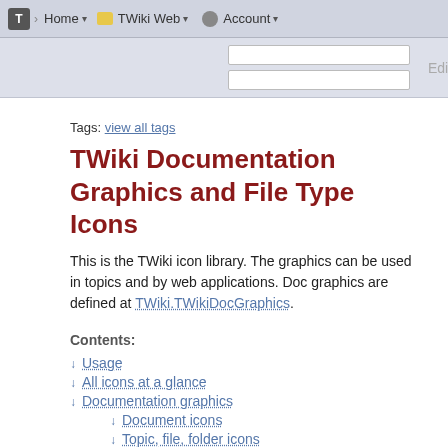Home | TWiki Web | Account
Tags: view all tags
TWiki Documentation Graphics and File Type Icons
This is the TWiki icon library. The graphics can be used in topics and by web applications. Doc graphics are defined at TWiki.TWikiDocGraphics.
Contents:
↓ Usage
↓ All icons at a glance
↓ Documentation graphics
↓ Document icons
↓ Topic, file, folder icons
↓ Person, group, access icons
↓ Social networking, social bookmarks
↓ Changes, notification icons